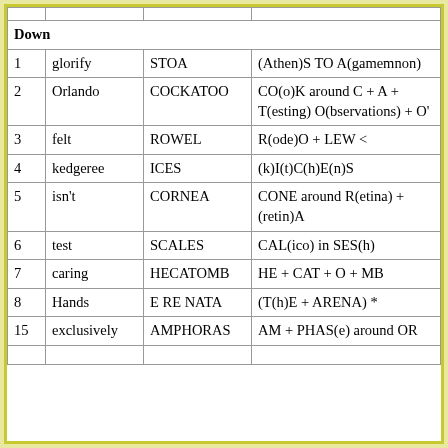|  | Down |  |  |
| --- | --- | --- | --- |
| 1 | glorify | STOA | (Athen)S TO A(gamemnon) |
| 2 | Orlando | COCKATOO | CO(o)K around C + A + T(esting) O(bservations) + O' |
| 3 | felt | ROWEL | R(ode)O + LEW < |
| 4 | kedgeree | ICES | (k)I(t)C(h)E(n)S |
| 5 | isn't | CORNEA | CONE around R(etina) + (retin)A |
| 6 | test | SCALES | CAL(ico) in SES(h) |
| 7 | caring | HECATOMB | HE + CAT + O + MB |
| 8 | Hands | E RE NATA | (T(h)E + ARENA) * |
| 15 | exclusively | AMPHORAS | AM + PHAS(e) around OR |